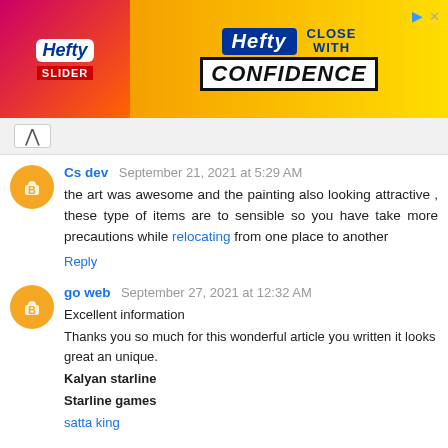[Figure (other): Hefty Slider Bags advertisement banner with pink/orange/yellow gradient background. Shows Hefty logo and text 'CLOSE WITH CONFIDENCE'.]
Cs dev  September 21, 2021 at 5:29 AM
the art was awesome and the painting also looking attractive , these type of items are to sensible so you have take more precautions while relocating from one place to another
Reply
go web  September 27, 2021 at 12:32 AM
Excellent information
Thanks you so much for this wonderful article you written it looks great an unique.
Kalyan starline
Starline games
satta king